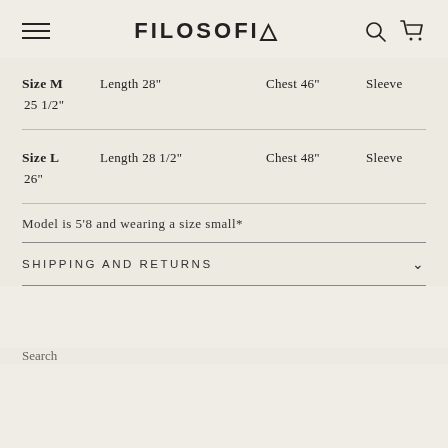FILOSOFIA
Size M   Length 28"   Chest 46"   Sleeve 25 1/2"
Size L   Length 28 1/2"   Chest 48"   Sleeve 26"
Model is 5'8 and wearing a size small*
SHIPPING AND RETURNS
Search